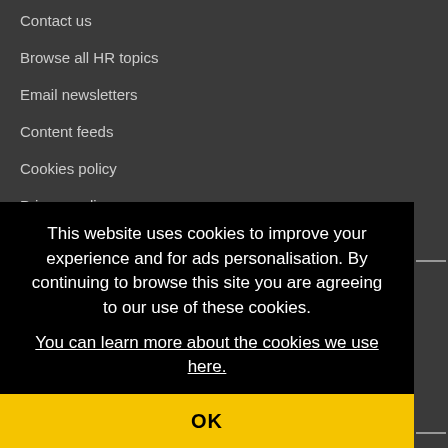Contact us
Browse all HR topics
Email newsletters
Content feeds
Cookies policy
Privacy policy
Terms and conditions
This website uses cookies to improve your experience and for ads personalisation. By continuing to browse this site you are agreeing to our use of these cookies. You can learn more about the cookies we use here.
OK